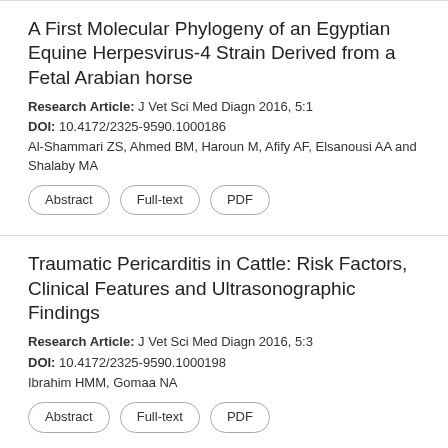A First Molecular Phylogeny of an Egyptian Equine Herpesvirus-4 Strain Derived from a Fetal Arabian horse
Research Article: J Vet Sci Med Diagn 2016, 5:1
DOI: 10.4172/2325-9590.1000186
Al-Shammari ZS, Ahmed BM, Haroun M, Afify AF, Elsanousi AA and Shalaby MA
Abstract | Full-text | PDF
Traumatic Pericarditis in Cattle: Risk Factors, Clinical Features and Ultrasonographic Findings
Research Article: J Vet Sci Med Diagn 2016, 5:3
DOI: 10.4172/2325-9590.1000198
Ibrahim HMM, Gomaa NA
Abstract | Full-text | PDF
Evaluation of Rapid Immunodiagnostic Test for Rabies Diagnosis Using Clinical Brain Samples in Ethiopia